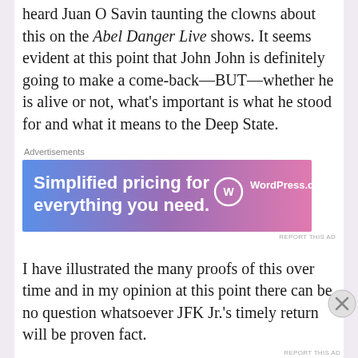heard Juan O Savin taunting the clowns about this on the Abel Danger Live shows. It seems evident at this point that John John is definitely going to make a come-back—BUT—whether he is alive or not, what's important is what he stood for and what it means to the Deep State.
[Figure (other): WordPress.com advertisement banner: 'Simplified pricing for everything you need.' with WordPress.com logo on a blue-to-pink gradient background.]
I have illustrated the many proofs of this over time and in my opinion at this point there can be no question whatsoever JFK Jr.'s timely return will be proven fact.
Advertisements